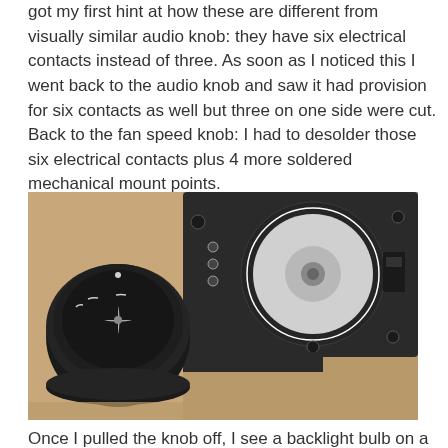got my first hint at how these are different from visually similar audio knob: they have six electrical contacts instead of three. As soon as I noticed this I went back to the audio knob and saw it had provision for six contacts as well but three on one side were cut. Back to the fan speed knob: I had to desolder those six electrical contacts plus 4 more soldered mechanical mount points.
[Figure (photo): Photo showing a disassembled fan speed knob. On the left is the black knob cap with a fan symbol, and on the right is the circuit board/mechanism with a circular dial and central shaft, placed on a brown surface.]
Once I pulled the knob off, I see a backlight bulb on a